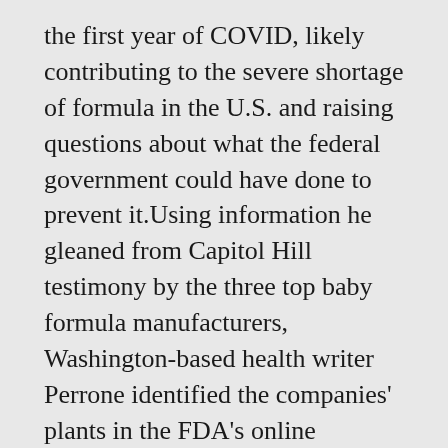the first year of COVID, likely contributing to the severe shortage of formula in the U.S. and raising questions about what the federal government could have done to prevent it.Using information he gleaned from Capitol Hill testimony by the three top baby formula manufacturers, Washington-based health writer Perrone identified the companies' plants in the FDA's online database and discovered the agency hadn't inspected Abbott's plant — responsible for a recall of formula that exacerbated the nationwide shortage — for two years between 2019 and 2021. In fact, the FDA later acknowledged only